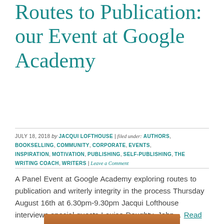Routes to Publication: our Event at Google Academy
JULY 18, 2018 by JACQUI LOFTHOUSE | filed under: AUTHORS, BOOKSELLING, COMMUNITY, CORPORATE, EVENTS, INSPIRATION, MOTIVATION, PUBLISHING, SELF-PUBLISHING, THE WRITING COACH, WRITERS | Leave a Comment
A Panel Event at Google Academy exploring routes to publication and writerly integrity in the process Thursday August 16th at 6.30pm-9.30pm Jacqui Lofthouse interviews special guests Louise Doughty, John... Read the rest →
[Figure (photo): Partial photo showing top of a person's head with red/auburn hair, cropped at bottom of page]